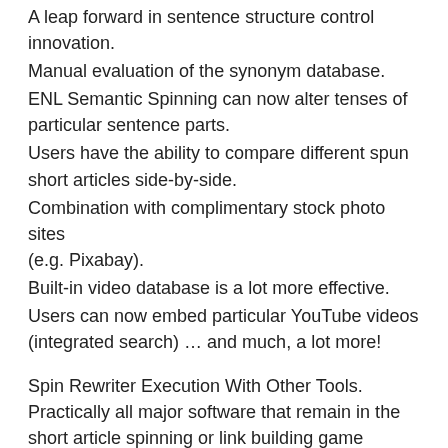A leap forward in sentence structure control innovation.
Manual evaluation of the synonym database.
ENL Semantic Spinning can now alter tenses of particular sentence parts.
Users have the ability to compare different spun short articles side-by-side.
Combination with complimentary stock photo sites (e.g. Pixabay).
Built-in video database is a lot more effective.
Users can now embed particular YouTube videos (integrated search) … and much, a lot more!
Spin Rewriter Execution With Other Tools.
Practically all major software that remain in the short article spinning or link building game assistance Spin Rewriter. This means that you can spin content straight from the software application you are utilizing.